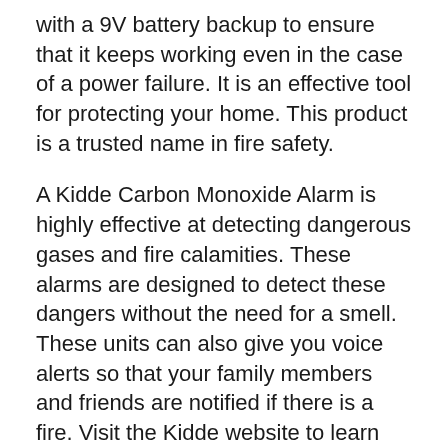with a 9V battery backup to ensure that it keeps working even in the case of a power failure. It is an effective tool for protecting your home. This product is a trusted name in fire safety.
A Kidde Carbon Monoxide Alarm is highly effective at detecting dangerous gases and fire calamities. These alarms are designed to detect these dangers without the need for a smell. These units can also give you voice alerts so that your family members and friends are notified if there is a fire. Visit the Kidde website to learn more about the alarm. You can rest assured that your family will be safe for 10 years after you purchase a Kidde Carbon Monoxide Alarm.